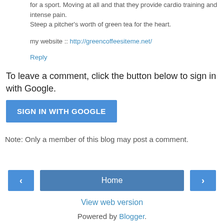for a sport. Moving at all and that they provide cardio training and intense pain.
Steep a pitcher's worth of green tea for the heart.
my website :: http://greencoffeesiteme.net/
Reply
To leave a comment, click the button below to sign in with Google.
SIGN IN WITH GOOGLE
Note: Only a member of this blog may post a comment.
‹
Home
›
View web version
Powered by Blogger.